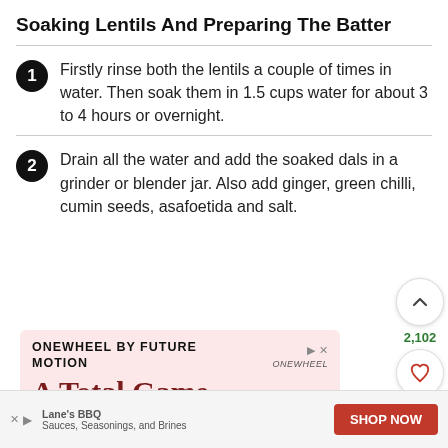Soaking Lentils And Preparing The Batter
Firstly rinse both the lentils a couple of times in water. Then soak them in 1.5 cups water for about 3 to 4 hours or overnight.
Drain all the water and add the soaked dals in a grinder or blender jar. Also add ginger, green chilli, cumin seeds, asafoetida and salt.
[Figure (screenshot): Advertisement for Onewheel by Future Motion — A Total Game Changer]
[Figure (screenshot): Bottom advertisement bar: Lane's BBQ Sauces, Seasonings, and Brines with SHOP NOW button]